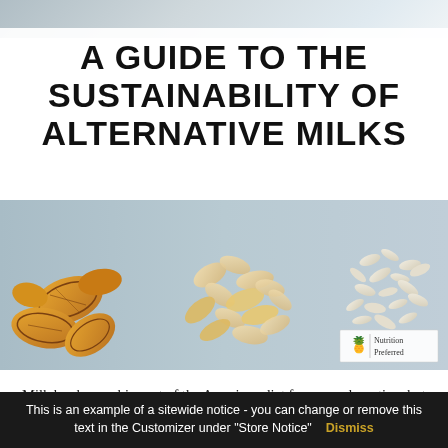[Figure (photo): Top strip of a light blue-grey surface, slightly blurred, partial view of a table or surface from above]
A GUIDE TO THE SUSTAINABILITY OF ALTERNATIVE MILKS
[Figure (photo): Flat-lay photo on a light blue-grey surface showing walnuts on the left, oat flakes in the center, and rice or almonds on the right. Bottom right has a Nutrition Preferred logo badge.]
Milk has been a big part of the American diet for a very long time but with over 50 million Americans having milk allergies or
This is an example of a sitewide notice - you can change or remove this text in the Customizer under "Store Notice"   Dismiss